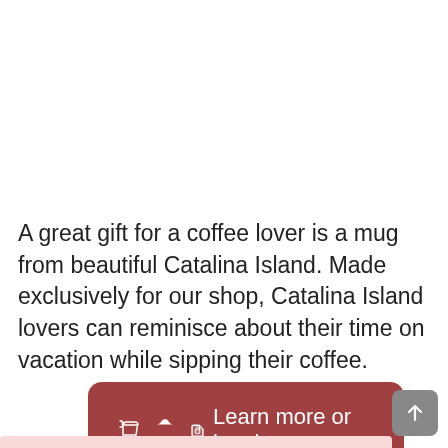A great gift for a coffee lover is a mug from beautiful Catalina Island. Made exclusively for our shop, Catalina Island lovers can reminisce about their time on vacation while sipping their coffee.
🏷 Learn more or buy here.